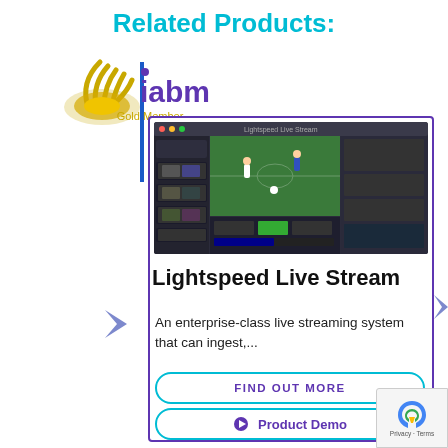Related Products:
[Figure (logo): IABM Gold Member logo with gold antenna icon and purple IABM text]
[Figure (screenshot): Screenshot of Lightspeed Live Stream software interface showing video editing/streaming dashboard with football match footage]
Lightspeed Live Stream
An enterprise-class live streaming system that can ingest,...
FIND OUT MORE
Product Demo